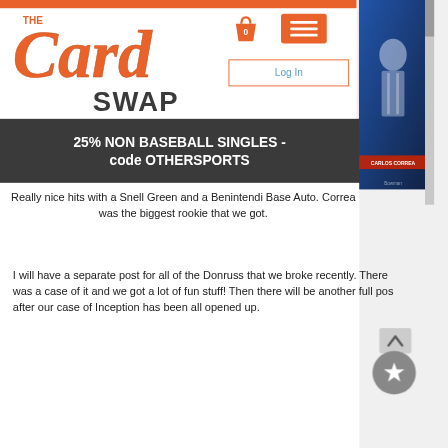[Figure (logo): The Card Swap logo in orange script with 'SWAP' in bold sans-serif, shopping bag icon, and hamburger menu button]
[Figure (photo): Baseball card photo of Carlos Correa in Astros uniform]
Log In
25% NON BASEBALL SINGLES - code OTHERSPORTS
Really nice hits with a Snell Green and a Benintendi Base Auto. Correa was the biggest rookie that we got.
I will have a separate post for all of the Donruss that we broke recently. There was a case of it and we got a lot of fun stuff! Then there will be another full post after our case of Inception has been all opened up.